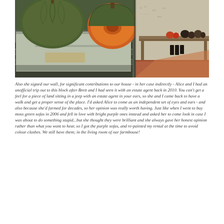[Figure (photo): A farmhouse storage area or shed with squash and pumpkins on a metal surface/bench on the left side; one large pumpkin is cut open showing orange flesh. On the right, a wooden bench/shelf against a white wall with writing on it, holding small orange and dark-coloured gourds and vegetables. Terracotta-coloured floor visible.]
Also she signed our wall, for significant contributions to our house - in her case indirectly - Alice and I had an unofficial trip out to this block after Brett and I had seen it with an estate agent back in 2010. You can't get a feel for a piece of land sitting in a jeep with an estate agent in your ears, so she and I came back to have a walk and get a proper sense of the place. I'd asked Alice to come as an independent set of eyes and ears - and also because she'd farmed for decades, so her opinion was really worth having. Just like when I went to buy moss green sofas in 2006 and fell in love with bright purple ones instead and asked her to come look in case I was about to do something stupid...but she thought they were brilliant and she always gave her honest opinion rather than what you want to hear, so I got the purple sofas, and re-painted my rental at the time to avoid colour clashes. We still have them; in the living room of our farmhouse!